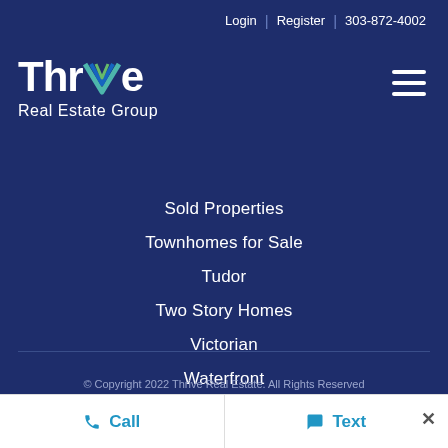Login | Register | 303-872-4002
[Figure (logo): Thrive Real Estate Group logo — white bold text with a colorful chevron/V mark, on dark navy background]
Sold Properties
Townhomes for Sale
Tudor
Two Story Homes
Victorian
Waterfront
© Copyright 2022 Thrive Real Estate. All Rights Reserved
Call
Text